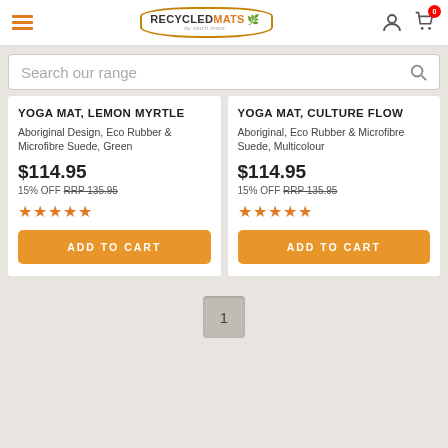RecycledMats logo with hamburger menu, user icon, and cart icon (0 items)
Search our range
YOGA MAT, LEMON MYRTLE
Aboriginal Design, Eco Rubber & Microfibre Suede, Green
$114.95
15% OFF RRP 135.95
★★★★★
ADD TO CART
YOGA MAT, CULTURE FLOW
Aboriginal, Eco Rubber & Microfibre Suede, Multicolour
$114.95
15% OFF RRP 135.95
★★★★★
ADD TO CART
1